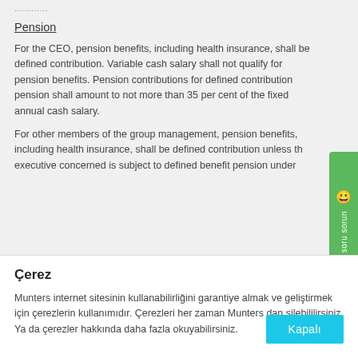...........
Pension
For the CEO, pension benefits, including health insurance, shall be defined contribution. Variable cash salary shall not qualify for pension benefits. Pension contributions for defined contribution pension shall amount to not more than 35 per cent of the fixed annual cash salary.
For other members of the group management, pension benefits, including health insurance, shall be defined contribution unless the executive concerned is subject to defined benefit pension under
Çerez
Munters internet sitesinin kullanabilirliğini garantiye almak ve geliştirmek için çerezlerin kullanımıdır. Çerezleri her zaman Munters dan silebililirsiniz. Ya da çerezler hakkında daha fazla okuyabilirsiniz.
Kapalı